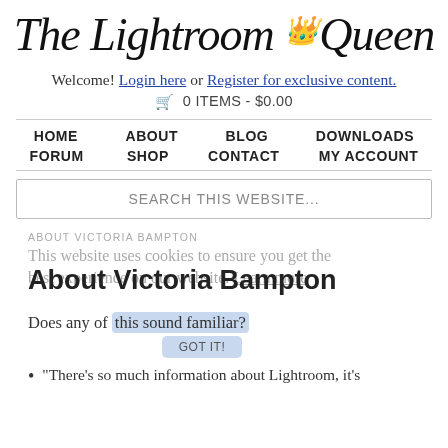[Figure (logo): The Lightroom Queen logo with crown emoji above the Q in Queen, italic script font]
Welcome! Login here or Register for exclusive content.
🛒 0 ITEMS - $0.00
HOME  ABOUT  BLOG  DOWNLOADS  FORUM  SHOP  CONTACT  MY ACCOUNT
SEARCH THIS WEBSITE...
ABOUT VICTORIA BAMPTON
This website uses cookies to ensure you get the best experience on our website. Learn more
About Victoria Bampton
Does any of this sound familiar?
"There's so much information about Lightroom, it's